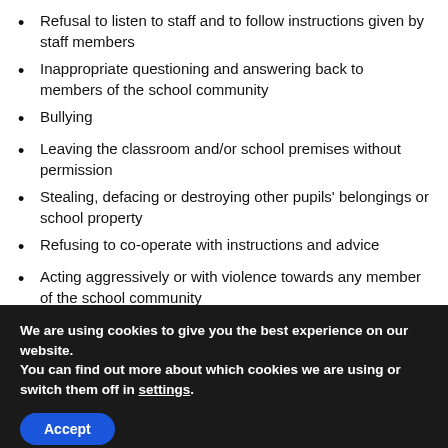Refusal to listen to staff and to follow instructions given by staff members
Inappropriate questioning and answering back to members of the school community
Bullying
Leaving the classroom and/or school premises without permission
Stealing, defacing or destroying other pupils' belongings or school property
Refusing to co-operate with instructions and advice
Acting aggressively or with violence towards any member of the school community
Directing insolent or abusive language at any members of
We are using cookies to give you the best experience on our website.
You can find out more about which cookies we are using or switch them off in settings.
Accept